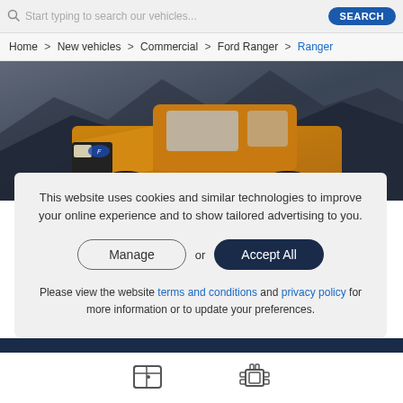Start typing to search our vehicles... SEARCH
Home > New vehicles > Commercial > Ford Ranger > Ranger
[Figure (photo): Ford Ranger pickup truck in orange/gold color driving through a mountainous/rocky landscape with dramatic sky background]
This website uses cookies and similar technologies to improve your online experience and to show tailored advertising to you.
Manage or Accept All
Please view the website terms and conditions and privacy policy for more information or to update your preferences.
[Figure (illustration): Two icons at the bottom: a car door icon and an engine/mechanical icon]